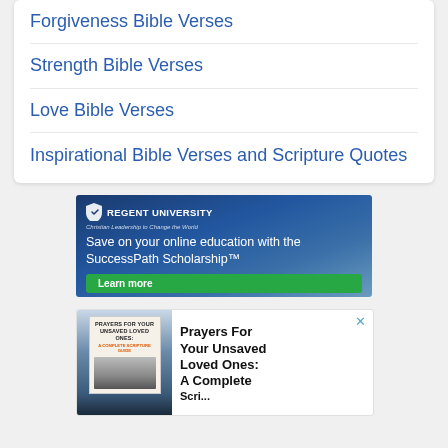Forgiveness Bible Verses
Strength Bible Verses
Love Bible Verses
Inspirational Bible Verses and Scripture Quotes
[Figure (screenshot): Regent University ad: Save on your online education with the SuccessPath Scholarship. Learn more button.]
[Figure (screenshot): Book ad: Prayers For Your Unsaved Loved Ones: A Complete Scripture Guide. Shows book cover with woman on mountain background.]